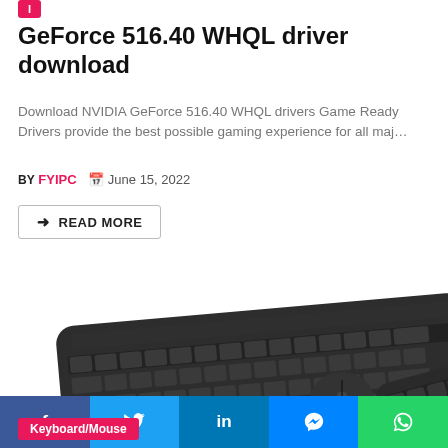GeForce 516.40 WHQL driver download
Download NVIDIA GeForce 516.40 WHQL drivers Game Ready Drivers provide the best possible gaming experience for all maj…
BY FYIPC  June 15, 2022
READ MORE
[Figure (photo): Photo of a dark wireless keyboard with mouse on left, and a compact wireless keyboard on the right]
Keyboard/Mouse
Facebook  Twitter  LinkedIn  Messenger  WhatsApp